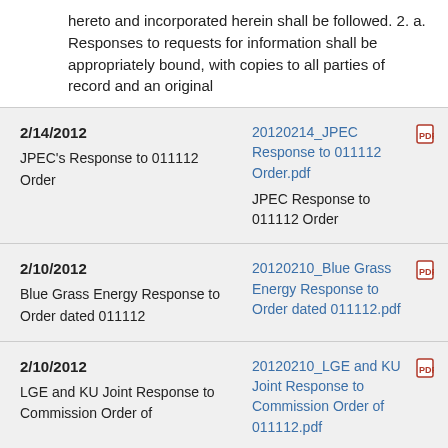hereto and incorporated herein shall be followed. 2. a. Responses to requests for information shall be appropriately bound, with copies to all parties of record and an original
| Date / Description | File |
| --- | --- |
| 2/14/2012
JPEC's Response to 011112 Order | 20120214_JPEC Response to 011112 Order.pdf
JPEC Response to 011112 Order |
| 2/10/2012
Blue Grass Energy Response to Order dated 011112 | 20120210_Blue Grass Energy Response to Order dated 011112.pdf |
| 2/10/2012
LGE and KU Joint Response to Commission Order of | 20120210_LGE and KU Joint Response to Commission Order of 011112.pdf |